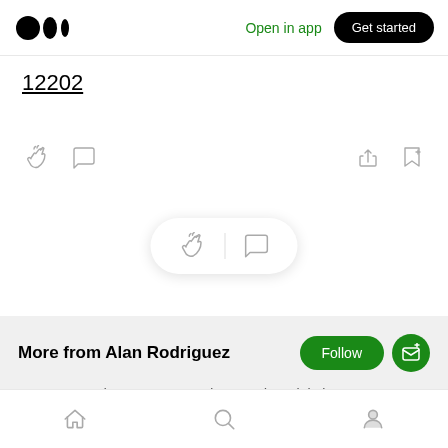Medium logo | Open in app | Get started
12202
[Figure (screenshot): Action bar with clap icon, comment icon on left; share and bookmark icons on right]
[Figure (screenshot): Floating pill with clap and comment icons]
More from Alan Rodriguez
Startup Founder, Inventor, Product Leader, Digital Hunter & Marketer, Data & Privacy Renegade, Philosopher, Digital Humanist
Home | Search | Profile